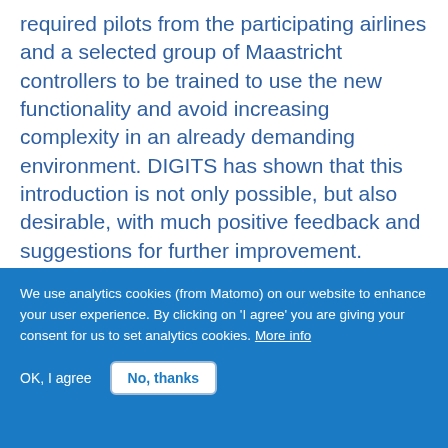required pilots from the participating airlines and a selected group of Maastricht controllers to be trained to use the new functionality and avoid increasing complexity in an already demanding environment. DIGITS has shown that this introduction is not only possible, but also desirable, with much positive feedback and suggestions for further improvement.

Over the course of two years, the project successfully proved, via live pre-operations at Eurocontrol's Maastricht Upper Area Control Centre (MUAC), shadow-mode in Germany,
We use analytics cookies (from Matomo) on our website to enhance your user experience. By clicking on 'I agree' you are giving your consent for us to set analytics cookies. More info
OK, I agree
No, thanks